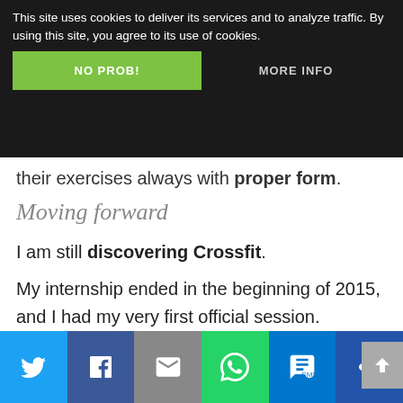This site uses cookies to deliver its services and to analyze traffic. By using this site, you agree to its use of cookies.
NO PROB!
MORE INFO
they learn how to do their exercises always with proper form.
Moving forward
I am still discovering Crossfit.
My internship ended in the beginning of 2015, and I had my very first official session.